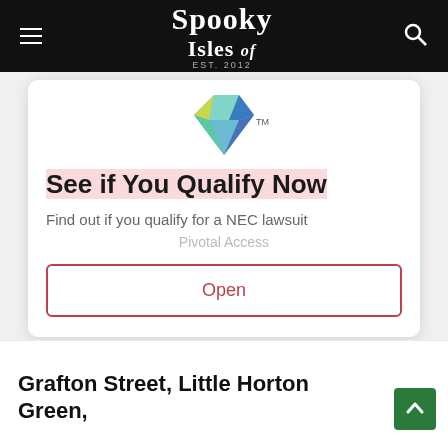Spooky Isles
[Figure (logo): Colorful geometric diamond/hexagon logo with teal, blue, green, and yellow facets with TM mark]
See if You Qualify Now
Find out if you qualify for a NEC lawsuit
Pivotal Access
Open
Grafton Street, Little Horton Green,